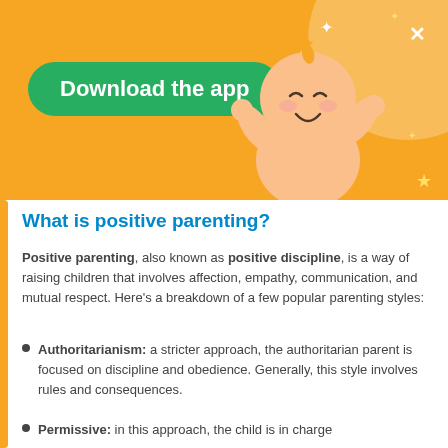[Figure (illustration): Orange banner with a Download the app green button, a cartoon baby illustration, star decorations, and an X close button]
What is positive parenting?
Positive parenting, also known as positive discipline, is a way of raising children that involves affection, empathy, communication, and mutual respect. Here's a breakdown of a few popular parenting styles:
Authoritarianism: a stricter approach, the authoritarian parent is focused on discipline and obedience. Generally, this style involves rules and consequences.
Permissive: in this approach, the child is in charge